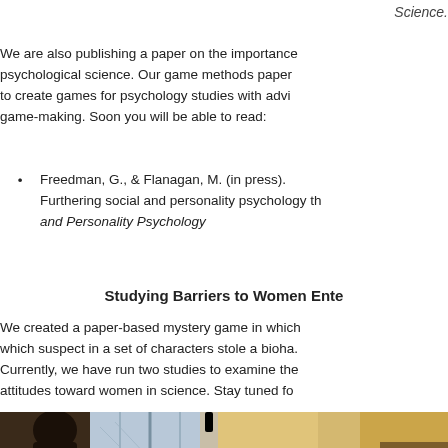Science.
We are also publishing a paper on the importance of psychological science. Our game methods paper to create games for psychology studies with advice on game-making. Soon you will be able to read:
Freedman, G., & Flanagan, M. (in press). Furthering social and personality psychology through and Personality Psychology
Studying Barriers to Women Ente
We created a paper-based mystery game in which which suspect in a set of characters stole a bioha. Currently, we have run two studies to examine the attitudes toward women in science. Stay tuned fo
[Figure (illustration): Illustrated scene from the paper-based mystery game showing characters in a room]